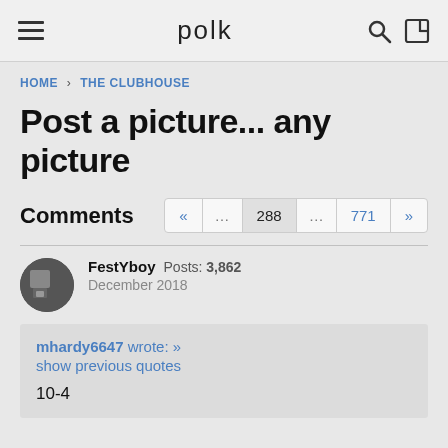polk
HOME › THE CLUBHOUSE
Post a picture... any picture
Comments
FestYboy  Posts: 3,862
December 2018
mhardy6647 wrote: »
show previous quotes

10-4